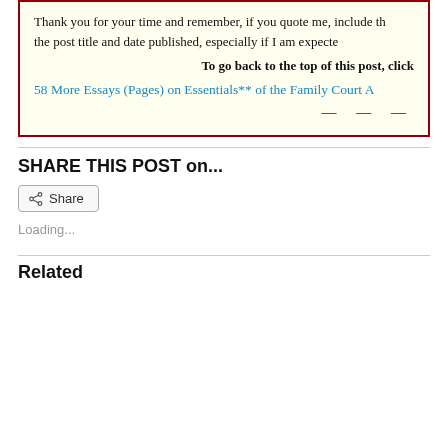Thank you for your time and remember, if you quote me, include the post title and date published, especially if I am expected
To go back to the top of this post, click
58 More Essays (Pages) on Essentials** of the Family Court A
— — —
SHARE THIS POST on...
Share
Loading...
Related